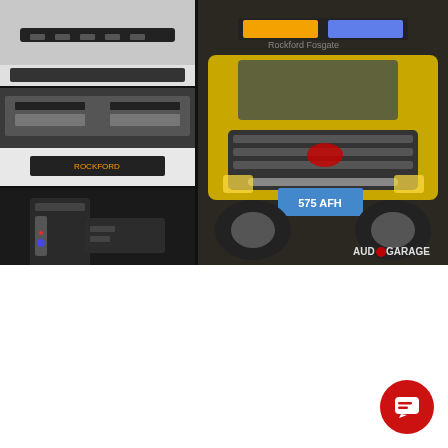[Figure (photo): Grid of automotive photos: three left-column images showing LED light bars and mounting hardware on a white vehicle, and one large right-column photo of a yellow Toyota Tundra truck with amber and blue roof lights and an Audio Garage watermark]
Next on the list was to add lighting to illuminate the area around the vehicle. We used two of the low-profile Diode Dynamics Stage Series 6-inch flood-pattern LED light bars on each side of the vehicle and another pair on the rear. One of the lights is white, while the other is amber. We created custom mounting brackets for the lights and the cameras on his roof rack.